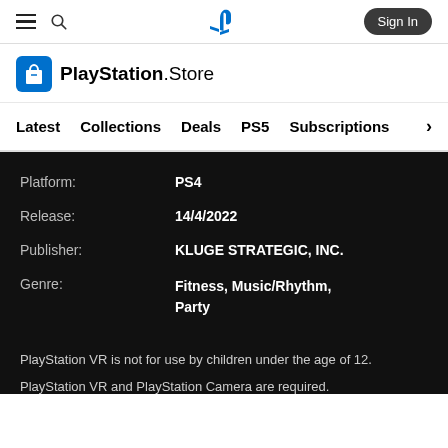PlayStation Store navigation header with hamburger menu, search, PlayStation logo, and Sign In button
[Figure (logo): PlayStation Store logo with shopping bag icon]
Latest | Collections | Deals | PS5 | Subscriptions >
Platform: PS4
Release: 14/4/2022
Publisher: KLUGE STRATEGIC, INC.
Genre: Fitness, Music/Rhythm, Party
PlayStation VR is not for use by children under the age of 12.
PlayStation VR and PlayStation Camera are required.